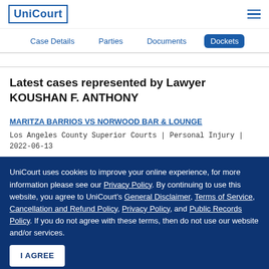UniCourt
Case Details | Parties | Documents | Dockets
Latest cases represented by Lawyer KOUSHAN F. ANTHONY
MARITZA BARRIOS VS NORWOOD BAR & LOUNGE
Los Angeles County Superior Courts | Personal Injury | 2022-06-13
UniCourt uses cookies to improve your online experience, for more information please see our Privacy Policy. By continuing to use this website, you agree to UniCourt's General Disclaimer, Terms of Service, Cancellation and Refund Policy, Privacy Policy, and Public Records Policy. If you do not agree with these terms, then do not use our website and/or services.
I AGREE